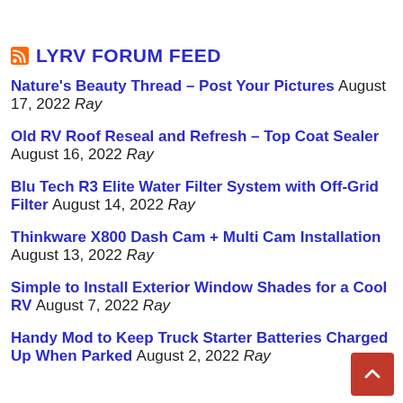LYRV FORUM FEED
Nature's Beauty Thread - Post Your Pictures August 17, 2022 Ray
Old RV Roof Reseal and Refresh – Top Coat Sealer August 16, 2022 Ray
Blu Tech R3 Elite Water Filter System with Off-Grid Filter August 14, 2022 Ray
Thinkware X800 Dash Cam + Multi Cam Installation August 13, 2022 Ray
Simple to Install Exterior Window Shades for a Cool RV August 7, 2022 Ray
Handy Mod to Keep Truck Starter Batteries Charged Up When Parked August 2, 2022 Ray